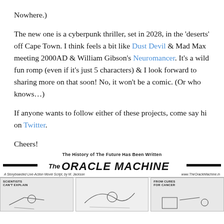Nowhere.)
The new one is a cyberpunk thriller, set in 2028, in the 'deserts' off Cape Town. I think feels a bit like Dust Devil & Mad Max meeting 2000AD & William Gibson's Neuromancer. It's a wild fun romp (even if it's just 5 characters) & I look forward to sharing more on that soon! No, it won't be a comic. (Or who knows…)
If anyone wants to follow either of these projects, come say hi on Twitter.
Cheers!
[Figure (illustration): The Oracle Machine comic book / movie script cover art showing the title 'The Oracle Machine' with subtitle 'The History of The Future Has Been Written', storyboarded live-action movie script by M. Jackson, website www.TheOracleMachine.in, and comic panel illustrations showing 'Scientists Can't Explain' and 'From Cures For Cancer' panels.]